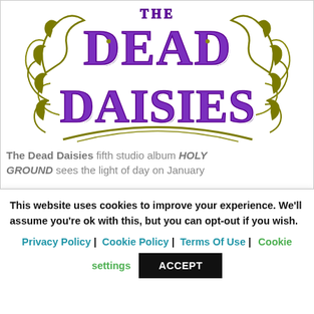[Figure (logo): The Dead Daisies band logo — large ornate lettering in purple with olive/gold decorative vine flourishes. 'THE' appears at top in smaller text, 'DEAD' and 'DAISIES' in large decorative gothic purple letters with white outlines and dark shading.]
The Dead Daisies fifth studio album HOLY GROUND sees the light of day on January
This website uses cookies to improve your experience. We'll assume you're ok with this, but you can opt-out if you wish.
Privacy Policy | Cookie Policy | Terms Of Use | Cookie settings ACCEPT